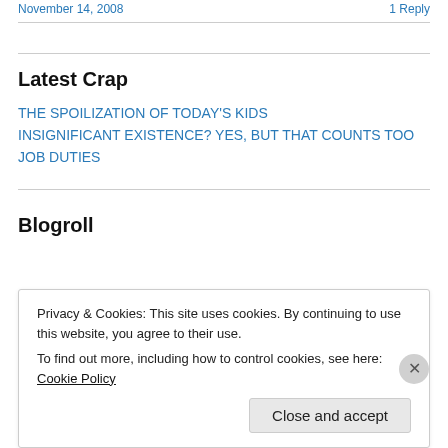November 14, 2008   1 Reply
Latest Crap
THE SPOILIZATION OF TODAY'S KIDS
INSIGNIFICANT EXISTENCE? YES, BUT THAT COUNTS TOO
JOB DUTIES
Blogroll
Privacy & Cookies: This site uses cookies. By continuing to use this website, you agree to their use.
To find out more, including how to control cookies, see here: Cookie Policy